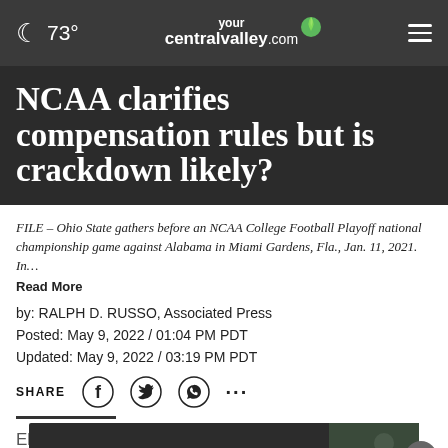73° yourcentralvalley.com
NCAA clarifies compensation rules but is crackdown likely?
FILE – Ohio State gathers before an NCAA College Football Playoff national championship game against Alabama in Miami Gardens, Fla., Jan. 11, 2021. In… Read More
by: RALPH D. RUSSO, Associated Press
Posted: May 9, 2022 / 01:04 PM PDT
Updated: May 9, 2022 / 03:19 PM PDT
SHARE
Eleven
restrictions against athletes cashing in on their fame